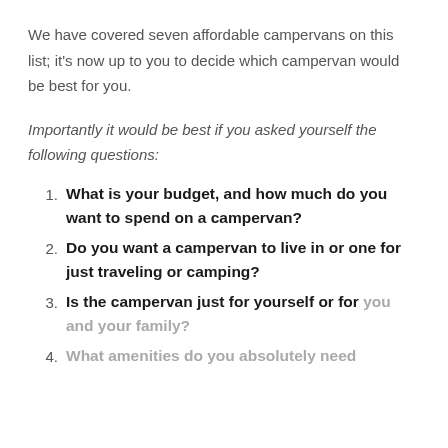We have covered seven affordable campervans on this list; it's now up to you to decide which campervan would be best for you.
Importantly it would be best if you asked yourself the following questions:
What is your budget, and how much do you want to spend on a campervan?
Do you want a campervan to live in or one for just traveling or camping?
Is the campervan just for yourself or for you and your family?
What amenities do you absolutely need